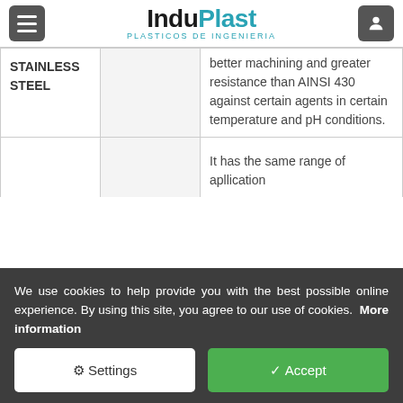InduPlast PLASTICOS DE INGENIERIA
|  |  | Description |
| --- | --- | --- |
| STAINLESS STEEL |  | better machining and greater resistance than AINSI 430 against certain agents in certain temperature and pH conditions. |
|  |  | It has the same range of apllication |
We use cookies to help provide you with the best possible online experience. By using this site, you agree to our use of cookies. More information
Settings
Accept